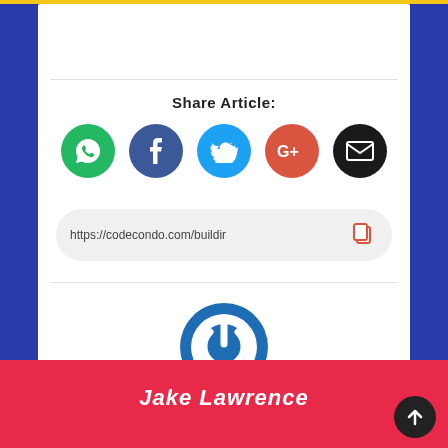[Figure (logo): Yellow letter C logo in top left]
Share Article:
[Figure (infographic): Five social share icon circles: WhatsApp (green), Facebook (blue), Twitter (light blue), Google+ (red-orange), Email (black)]
https://codecondo.com/buildir
[Figure (infographic): Blue power button icon circle]
Jake Lawrence